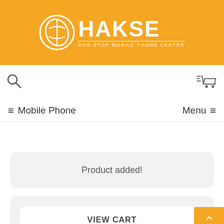[Figure (logo): HAKSE ONE-STOP MOBILE PHONE CENTER logo with orange circle H emblem and white text on orange background]
[Figure (other): Search icon (magnifying glass) on white toolbar]
[Figure (other): Shopping cart icon on white toolbar]
≡ Mobile Phone
Menu ≡
Product added!
VIEW CART